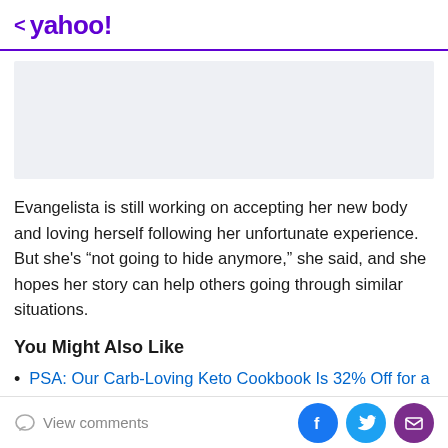< yahoo!
[Figure (other): Advertisement placeholder – light blue-grey rectangle]
Evangelista is still working on accepting her new body and loving herself following her unfortunate experience. But she’s “not going to hide anymore,” she said, and she hopes her story can help others going through similar situations.
You Might Also Like
PSA: Our Carb-Loving Keto Cookbook Is 32% Off for a
View comments